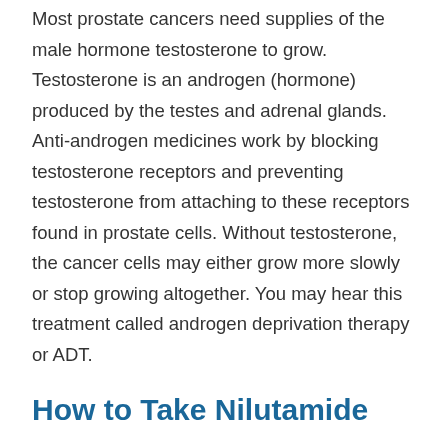Most prostate cancers need supplies of the male hormone testosterone to grow. Testosterone is an androgen (hormone) produced by the testes and adrenal glands. Anti-androgen medicines work by blocking testosterone receptors and preventing testosterone from attaching to these receptors found in prostate cells. Without testosterone, the cancer cells may either grow more slowly or stop growing altogether. You may hear this treatment called androgen deprivation therapy or ADT.
How to Take Nilutamide
Nilutamide is given as a tablet, with or without